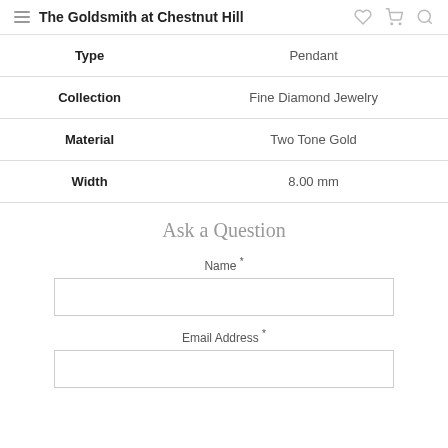The Goldsmith at Chestnut Hill
| Property | Value |
| --- | --- |
| Type | Pendant |
| Collection | Fine Diamond Jewelry |
| Material | Two Tone Gold |
| Width | 8.00 mm |
Ask a Question
Name *
Email Address *